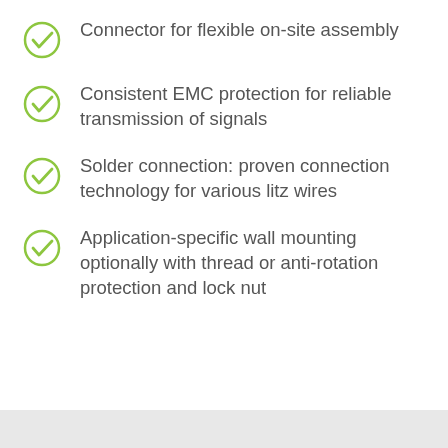Connector for flexible on-site assembly
Consistent EMC protection for reliable transmission of signals
Solder connection: proven connection technology for various litz wires
Application-specific wall mounting optionally with thread or anti-rotation protection and lock nut